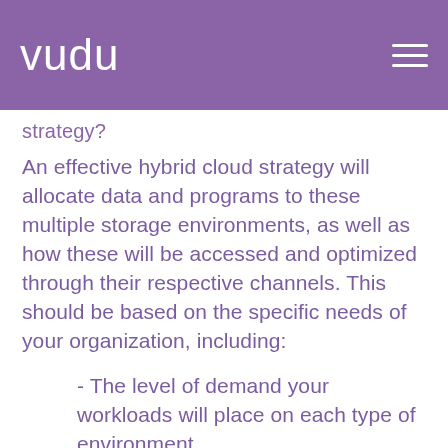vudu
strategy?
An effective hybrid cloud strategy will allocate data and programs to these multiple storage environments, as well as how these will be accessed and optimized through their respective channels. This should be based on the specific needs of your organization, including:
- The level of demand your workloads will place on each type of environment